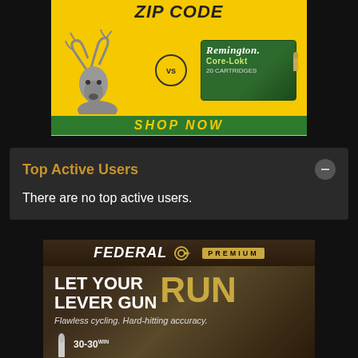[Figure (photo): Remington Core-Lokt ammunition advertisement on yellow background, featuring a whitetail deer vs. ammo box with 'ZIP CODE' text at top and 'SHOP NOW' button at bottom]
Top Active Users
There are no top active users.
[Figure (photo): Federal Premium ammunition advertisement featuring 'LET YOUR LEVER GUN RUN' text with 'Flawless cycling. Hard-hitting accuracy.' tagline and 30-30 caliber ammunition on a dark earthy background]